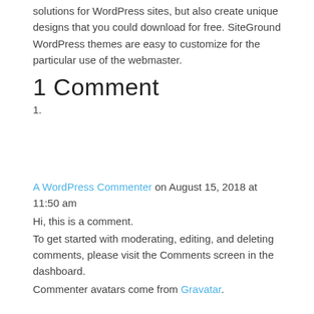solutions for WordPress sites, but also create unique designs that you could download for free. SiteGround WordPress themes are easy to customize for the particular use of the webmaster.
1 Comment
1.
A WordPress Commenter on August 15, 2018 at 11:50 am
Hi, this is a comment.
To get started with moderating, editing, and deleting comments, please visit the Comments screen in the dashboard.
Commenter avatars come from Gravatar.